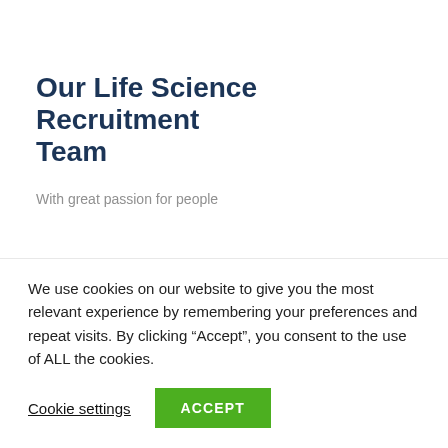Our Life Science Recruitment Team
With great passion for people
[Figure (photo): Partial view of a photo showing blurred figures, beige/grey tones, partially visible at bottom of upper section]
We use cookies on our website to give you the most relevant experience by remembering your preferences and repeat visits. By clicking “Accept”, you consent to the use of ALL the cookies.
Cookie settings   ACCEPT